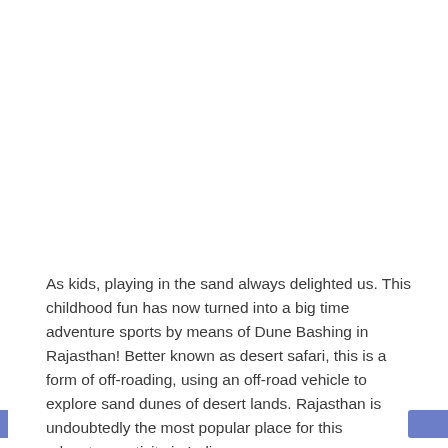As kids, playing in the sand always delighted us. This childhood fun has now turned into a big time adventure sports by means of Dune Bashing in Rajasthan! Better known as desert safari, this is a form of off-roading, using an off-road vehicle to explore sand dunes of desert lands. Rajasthan is undoubtedly the most popular place for this adventure activity in India.